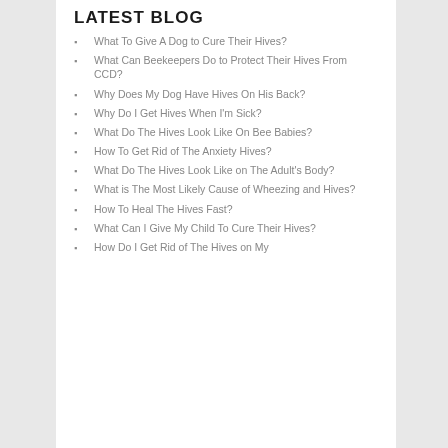LATEST BLOG
What To Give A Dog to Cure Their Hives?
What Can Beekeepers Do to Protect Their Hives From CCD?
Why Does My Dog Have Hives On His Back?
Why Do I Get Hives When I'm Sick?
What Do The Hives Look Like On Bee Babies?
How To Get Rid of The Anxiety Hives?
What Do The Hives Look Like on The Adult's Body?
What is The Most Likely Cause of Wheezing and Hives?
How To Heal The Hives Fast?
What Can I Give My Child To Cure Their Hives?
How Do I Get Rid of The Hives on My